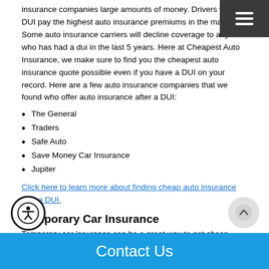insurance companies large amounts of money. Drivers with DUI pay the highest auto insurance premiums in the market. Some auto insurance carriers will decline coverage to anyone who has had a dui in the last 5 years. Here at Cheapest Auto Insurance, we make sure to find you the cheapest auto insurance quote possible even if you have a DUI on your record. Here are a few auto insurance companies that we found who offer auto insurance after a DUI:
The General
Traders
Safe Auto
Save Money Car Insurance
Jupiter
Click here to learn more about finding cheap auto insurance with a DUI.
Temporary Car Insurance
Temporary car insurance can be a great way to get cheap insurance for a short period of time. We recommend going with
Contact Us